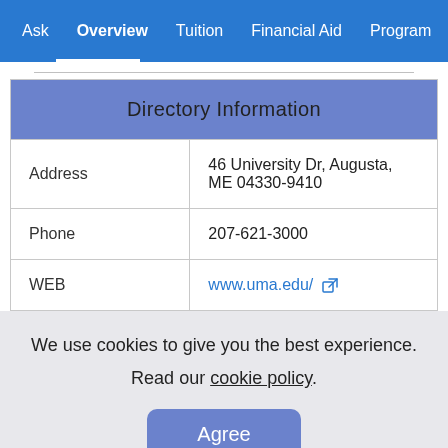Ask  Overview  Tuition  Financial Aid  Program  Populo
| Directory Information |
| --- |
| Address | 46 University Dr, Augusta, ME 04330-9410 |
| Phone | 207-621-3000 |
| WEB | www.uma.edu/ |
We use cookies to give you the best experience.
Read our cookie policy.
Agree